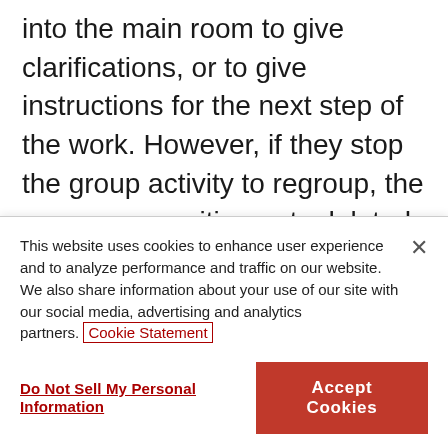into the main room to give clarifications, or to give instructions for the next step of the work. However, if they stop the group activity to regroup, the group composition gets deleted, the breakout rooms get closed and the work in progress gets wiped.
This new feature allows instructors to pause the activity instead of stopping it, effectively regrouping all attendees back into the main room i...
This website uses cookies to enhance user experience and to analyze performance and traffic on our website. We also share information about your use of our site with our social media, advertising and analytics partners. Cookie Statement
Do Not Sell My Personal Information
Accept Cookies